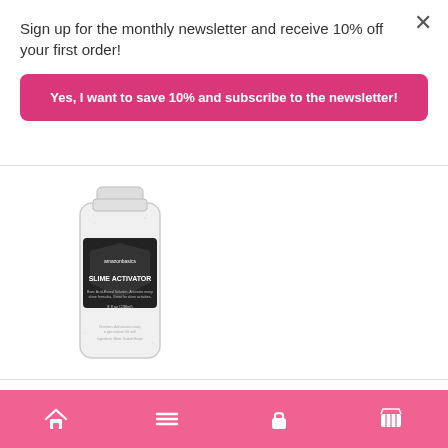Sign up for the monthly newsletter and receive 10% off your first order!
Yes, I want to save 10% and subscribe to the newsletter!
[Figure (photo): A clear plastic bottle of Amazon Basics Slime Activator product on a white background]
This website uses cookies to improve your experience. We'll assume you're ok with this, but
Home | Menu | Account | Cart